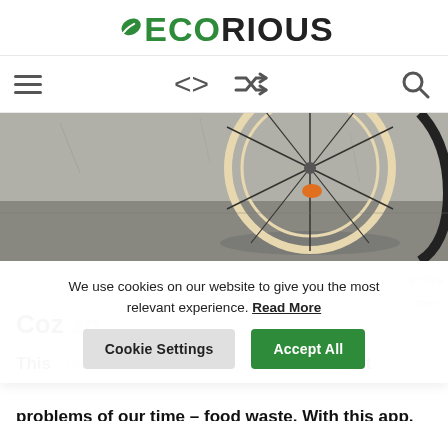ECORIOUS
[Figure (screenshot): Navigation bar with hamburger menu icon, left/right arrow icons, shuffle icon, and search icon]
[Figure (photo): Bicycle wheel leaning against a concrete wall on a pavement, with an orange object visible through the spokes]
ective
vners
Coz
We use cookies on our website to give you the most relevant experience. Read More
Cookie Settings   Accept All
This one is also connected to one of the biggest problems of our time – food waste. With this app,